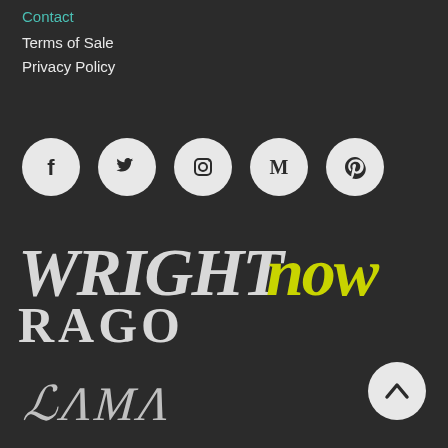Contact
Terms of Sale
Privacy Policy
[Figure (other): Row of 5 social media icons in light grey circles: Facebook, Twitter, Instagram, Medium, Pinterest]
[Figure (logo): WRIGHT NOW logo - WRIGHT in grey serif italic bold, NOW in yellow-green serif italic bold]
[Figure (logo): RAGO logo in large grey bold serif uppercase letters]
[Figure (logo): LAMA logo in decorative script/art nouveau style in grey]
[Figure (other): Scroll to top button - white circle with upward chevron arrow]